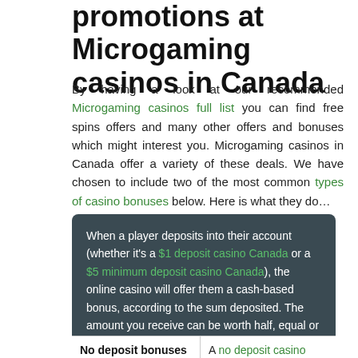promotions at Microgaming casinos in Canada
By having a look at our recommended Microgaming casinos full list you can find free spins offers and many other offers and bonuses which might interest you. Microgaming casinos in Canada offer a variety of these deals. We have chosen to include two of the most common types of casino bonuses below. Here is what they do…
When a player deposits into their account (whether it's a $1 deposit casino Canada or a $5 minimum deposit casino Canada), the online casino will offer them a cash-based bonus, according to the sum deposited. The amount you receive can be worth half, equal or even double (or greater) the amount deposited, varying from casino to casino.
| No deposit bonuses |  |
| --- | --- |
| No deposit bonuses | A no deposit casino Canada site will offer a |